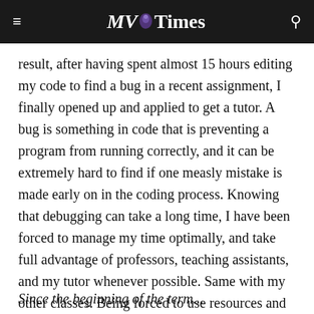MV Times
result, after having spent almost 15 hours editing my code to find a bug in a recent assignment, I finally opened up and applied to get a tutor. A bug is something in code that is preventing a program from running correctly, and it can be extremely hard to find if one measly mistake is made early on in the coding process. Knowing that debugging can take a long time, I have been forced to manage my time optimally, and take full advantage of professors, teaching assistants, and my tutor whenever possible. Same with my other classes. Being forced to use resources and manage time efficiently is a skill that I hope I will carry with me for the rest of my professional life.
Since the beginning of the term...